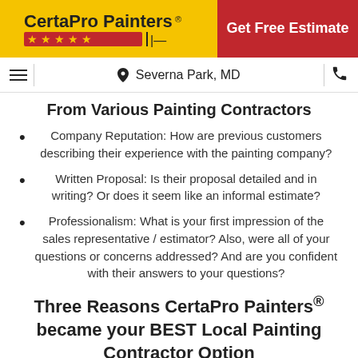[Figure (logo): CertaPro Painters logo with yellow background and red star row]
Get Free Estimate
Severna Park, MD
From Various Painting Contractors
Company Reputation: How are previous customers describing their experience with the painting company?
Written Proposal: Is their proposal detailed and in writing? Or does it seem like an informal estimate?
Professionalism: What is your first impression of the sales representative / estimator? Also, were all of your questions or concerns addressed? And are you confident with their answers to your questions?
Three Reasons CertaPro Painters® became your BEST Local Painting Contractor Option